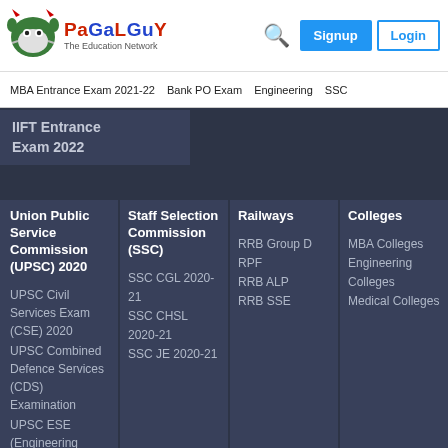[Figure (logo): PaGaLGuY The Education Network logo with mascot]
MBA Entrance Exam 2021-22 | Bank PO Exam | Engineering | SSC
IIFT Entrance Exam 2022
Union Public Service Commission (UPSC) 2020
UPSC Civil Services Exam (CSE) 2020
UPSC Combined Defence Services (CDS) Examination
UPSC ESE (Engineering
Staff Selection Commission (SSC)
SSC CGL 2020-21
SSC CHSL 2020-21
SSC JE 2020-21
Railways
RRB Group D
RPF
RRB ALP
RRB SSE
Colleges
MBA Colleges
Engineering Colleges
Medical Colleges